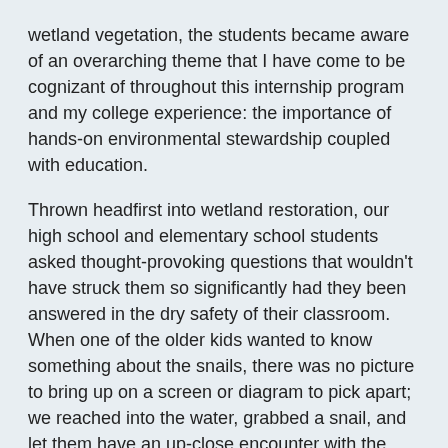wetland vegetation, the students became aware of an overarching theme that I have come to be cognizant of throughout this internship program and my college experience: the importance of hands-on environmental stewardship coupled with education.
Thrown headfirst into wetland restoration, our high school and elementary school students asked thought-provoking questions that wouldn't have struck them so significantly had they been answered in the dry safety of their classroom. When one of the older kids wanted to know something about the snails, there was no picture to bring up on a screen or diagram to pick apart; we reached into the water, grabbed a snail, and let them have an up-close encounter with the subject of their interrogation. Lessons and memories associated with hard work and indulging experiences have the potential to stick with our students and make a lasting impression on our youth.